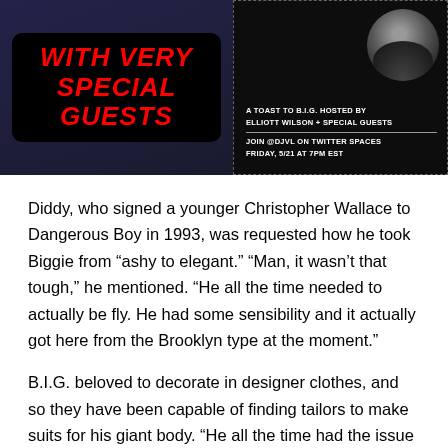[Figure (illustration): Event promotional image with dark background. Left side shows bold red italic text 'WITH VERY SPECIAL GUESTS' on black rounded rectangle. Right side shows a portrait silhouette with white text: 'A TOAST TO B.I.G. HOSTED BY ELLIOTT WILSON + SPECIAL GUESTS' and 'JOIN @DJVL ON TWITTER SPACES FRIDAY, 5/21 AT 7PM EST']
Diddy, who signed a younger Christopher Wallace to Dangerous Boy in 1993, was requested how he took Biggie from “ashy to elegant.” “Man, it wasn’t that tough,” he mentioned. “He all the time needed to actually be fly. He had some sensibility and it actually got here from the Brooklyn type at the moment.”
B.I.G. beloved to decorate in designer clothes, and so they have been capable of finding tailors to make suits for his giant body. “He all the time had the issue the place it wasn’t in his measurement,” mentioned Puff. “Shout to 5001 [Flavors] and all the opposite tailors that we was capable of finding that we was in a position to actually, actually get him